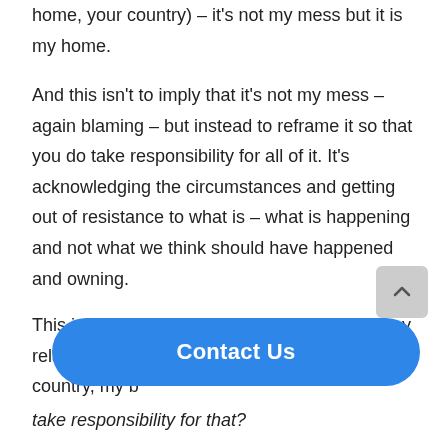home, your country) – it's not my mess but it is my home.
And this isn't to imply that it's not my mess – again blaming – but instead to reframe it so that you do take responsibility for all of it. It's acknowledging the circumstances and getting out of resistance to what is – what is happening and not what we think should have happened and owning.
This is my life, my home, my job, my career, my relationship, my time, my community, my country, my b
take responsibility for that?